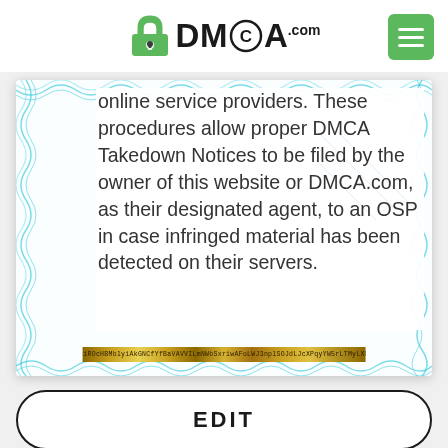[Figure (logo): DMCA.com logo with green padlock icon and black DMCA text with .com]
online service providers. These procedures allow proper DMCA Takedown Notices to be filed by the owner of this website or DMCA.com, as their designated agent, to an OSP in case infringed material has been detected on their servers.
EDIT
ADD AN ITEM